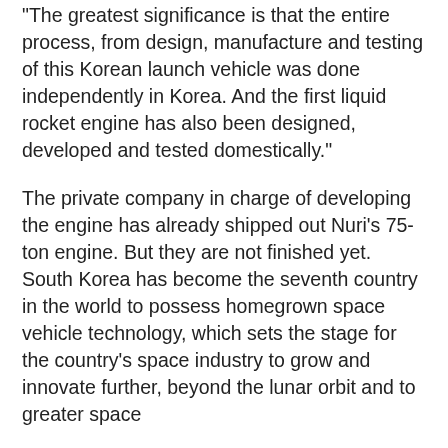"The greatest significance is that the entire process, from design, manufacture and testing of this Korean launch vehicle was done independently in Korea. And the first liquid rocket engine has also been designed, developed and tested domestically."
The private company in charge of developing the engine has already shipped out Nuri's 75-ton engine. But they are not finished yet. South Korea has become the seventh country in the world to possess homegrown space vehicle technology, which sets the stage for the country's space industry to grow and innovate further, beyond the lunar orbit and to greater space